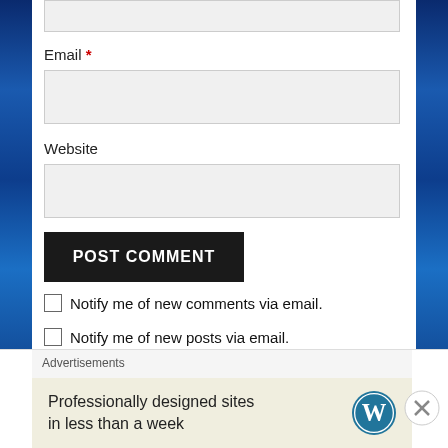Email *
Website
POST COMMENT
Notify me of new comments via email.
Notify me of new posts via email.
Advertisements
Advertisements
Professionally designed sites in less than a week